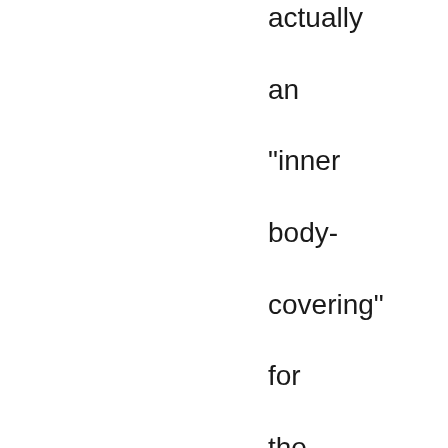actually an "inner body-covering" for the human spirit. The same life forces that